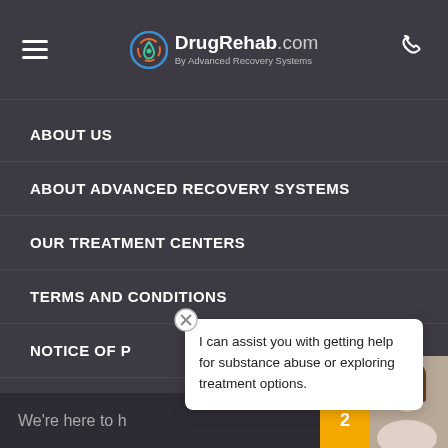DrugRehab.com By Advanced Recovery Systems
ABOUT US
ABOUT ADVANCED RECOVERY SYSTEMS
OUR TREATMENT CENTERS
TERMS AND CONDITIONS
NOTICE OF P...
I can assist you with getting help for substance abuse or exploring treatment options.
We're here to h...